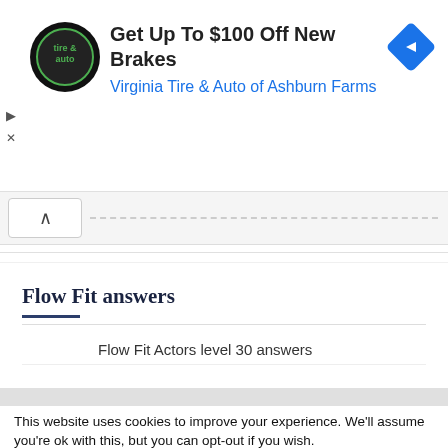[Figure (infographic): Advertisement banner for Virginia Tire & Auto of Ashburn Farms offering up to $100 off new brakes, with circular logo and blue diamond navigation arrow icon]
Get Up To $100 Off New Brakes
Virginia Tire & Auto of Ashburn Farms
Flow Fit answers
Flow Fit Actors level 30 answers
This website uses cookies to improve your experience. We'll assume you're ok with this, but you can opt-out if you wish.